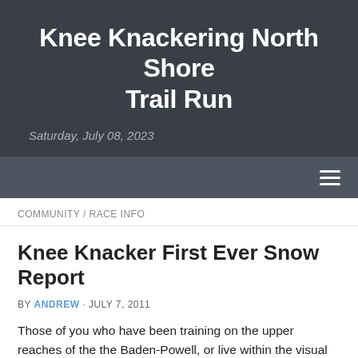Knee Knackering North Shore Trail Run
Saturday, July 08, 2023
COMMUNITY / RACE INFO
Knee Knacker First Ever Snow Report
BY ANDREW · JULY 7, 2011
Those of you who have been training on the upper reaches of the the Baden-Powell, or live within the visual corridor of the North